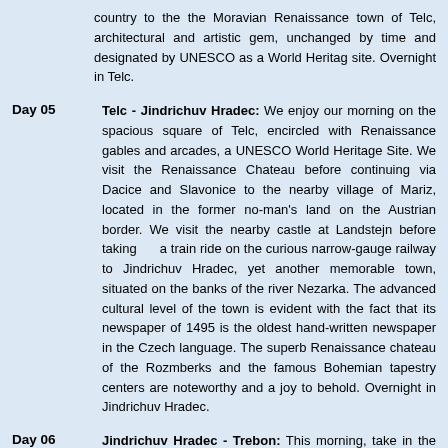country to the the Moravian Renaissance town of Telc, architectural and artistic gem, unchanged by time and designated by UNESCO as a World Heritag site. Overnight in Telc.
Day 05 — Telc - Jindrichuv Hradec: We enjoy our morning on the spacious square of Telc, encircled with Renaissance gables and arcades, a UNESCO World Heritage Site. We visit the Renaissance Chateau before continuing via Dacice and Slavonice to the nearby village of Mariz, located in the former no-man's land on the Austrian border. We visit the nearby castle at Landstejn before taking a train ride on the curious narrow-gauge railway to Jindrichuv Hradec, yet another memorable town, situated on the banks of the river Nezarka. The advanced cultural level of the town is evident with the fact that its newspaper of 1495 is the oldest hand-written newspaper in the Czech language. The superb Renaissance chateau of the Rozmberks and the famous Bohemian tapestry centers are noteworthy and a joy to behold. Overnight in Jindrichuv Hradec.
Day 06 — Jindrichuv Hradec - Trebon: This morning, take in the historic town and castle of Jindrichuv Hradec. After the visit, continue through the mosaic of ponds, woods and meadows of the